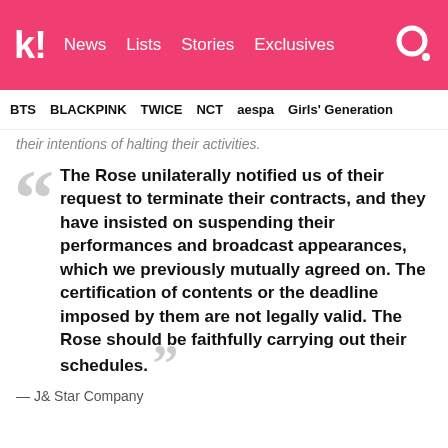k! News  Lists  Stories  Exclusives
BTS  BLACKPINK  TWICE  NCT  aespa  Girls' Generation
their intentions of halting their activities.
The Rose unilaterally notified us of their request to terminate their contracts, and they have insisted on suspending their performances and broadcast appearances, which we previously mutually agreed on. The certification of contents or the deadline imposed by them are not legally valid. The Rose should be faithfully carrying out their schedules.
— J& Star Company